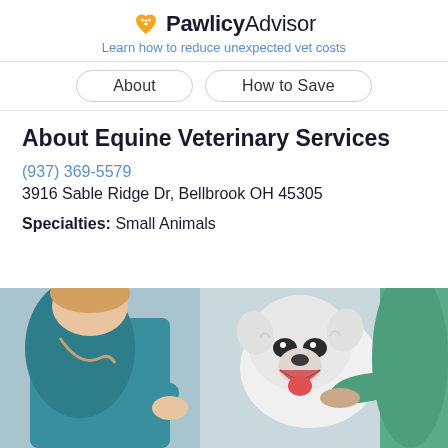PawlicyAdvisor — Learn how to reduce unexpected vet costs
About | How to Save
About Equine Veterinary Services
(937) 369-5579
3916 Sable Ridge Dr, Bellbrook OH 45305
Specialties: Small Animals
[Figure (photo): A veterinarian in teal scrubs examining a white fluffy dog (West Highland Terrier) while an assistant in green scrubs holds the dog.]